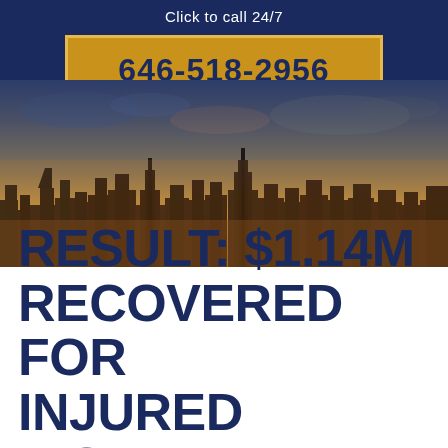Click to call 24/7
646-518-2956
[Figure (photo): Aerial skyline photo of New York City at dusk/sunset with warm orange tones and dramatic sky]
RESULT: $1.14M RECOVERED FOR INJURED WORKER